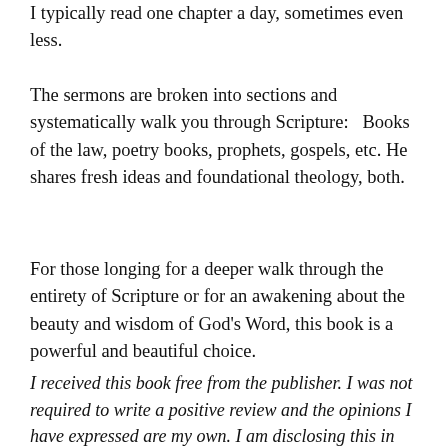I typically read one chapter a day, sometimes even less.
The sermons are broken into sections and systematically walk you through Scripture:   Books of the law, poetry books, prophets, gospels, etc. He shares fresh ideas and foundational theology, both.
For those longing for a deeper walk through the entirety of Scripture or for an awakening about the beauty and wisdom of God’s Word, this book is a powerful and beautiful choice.
I received this book free from the publisher. I was not required to write a positive review and the opinions I have expressed are my own. I am disclosing this in accordance with the Federal Trade Commission’s 16 CFR, Part 255 : “Guides Concerning the Use of